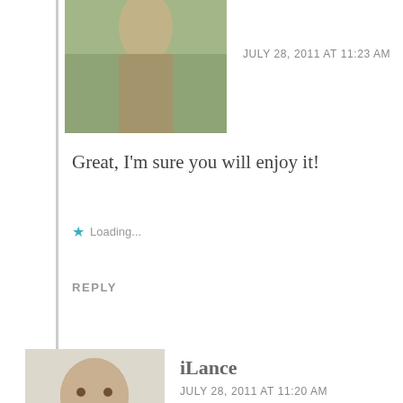[Figure (photo): Avatar photo of a person in nature, partially visible at top]
JULY 28, 2011 AT 11:23 AM
Great, I'm sure you will enjoy it!
Loading...
REPLY
[Figure (photo): Avatar photo of iLance, a black and white photo of a man]
iLance
JULY 28, 2011 AT 11:20 AM
"YOU FLASH PHOTOGRAPHY REBEL!!!